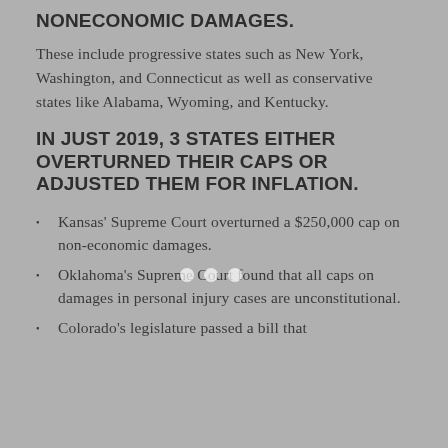NONECONOMIC DAMAGES.
These include progressive states such as New York, Washington, and Connecticut as well as conservative states like Alabama, Wyoming, and Kentucky.
IN JUST 2019, 3 STATES EITHER OVERTURNED THEIR CAPS OR ADJUSTED THEM FOR INFLATION.
Kansas' Supreme Court overturned a $250,000 cap on non-economic damages.
Oklahoma's Supreme Court found that all caps on damages in personal injury cases are unconstitutional.
Colorado's legislature passed a bill that